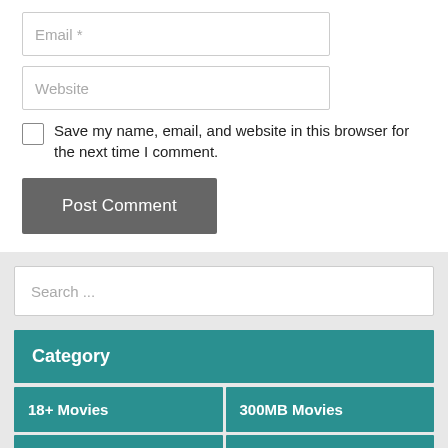Email *
Website
Save my name, email, and website in this browser for the next time I comment.
Post Comment
Search ...
Category
18+ Movies
300MB Movies
7starhd Movies
Bollywood 1080p Bluray